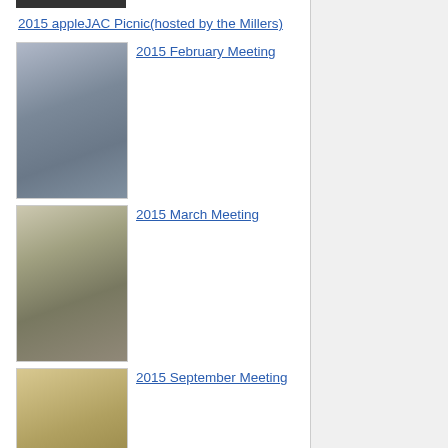[Figure (photo): Dark strip at top, partial thumbnail of previous entry]
2015 appleJAC Picnic(hosted by the Millers)
[Figure (photo): Man stretching yellow tape measure, wearing blue shirt]
2015 February Meeting
[Figure (photo): Meeting room with people standing, presentation setup]
2015 March Meeting
[Figure (photo): Meeting room with conference tables and chairs, dim lighting]
2015 September Meeting
[Figure (photo): Outdoor picnic scene with people sitting at tables]
2016 appleJAC picnic